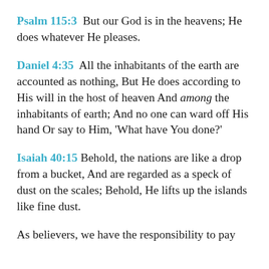Psalm 115:3  But our God is in the heavens; He does whatever He pleases.
Daniel 4:35  All the inhabitants of the earth are accounted as nothing, But He does according to His will in the host of heaven And among the inhabitants of earth; And no one can ward off His hand Or say to Him, 'What have You done?'
Isaiah 40:15  Behold, the nations are like a drop from a bucket, And are regarded as a speck of dust on the scales; Behold, He lifts up the islands like fine dust.
As believers, we have the responsibility to pay